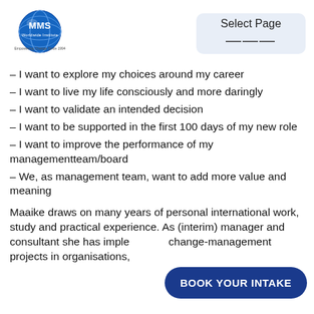MMS Worldwide Institute — Select Page
– I want to explore my choices around my career
– I want to live my life consciously and more daringly
– I want to validate an intended decision
– I want to be supported in the first 100 days of my new role
– I want to improve the performance of my managementteam/board
– We, as management team, want to add more value and meaning
Maaike draws on many years of personal international work, study and practical experience. As (interim) manager and consultant she has implemented change-management projects in organisations,